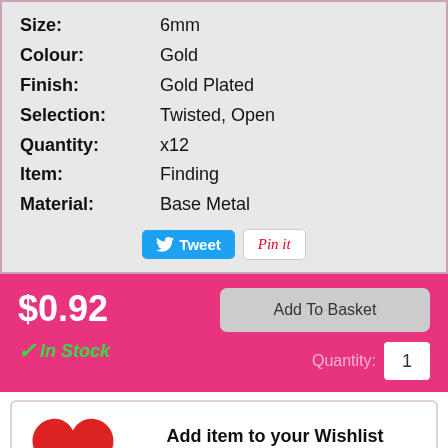| Property | Value |
| --- | --- |
| Size: | 6mm |
| Colour: | Gold |
| Finish: | Gold Plated |
| Selection: | Twisted, Open |
| Quantity: | x12 |
| Item: | Finding |
| Material: | Base Metal |
Tweet  Pin it
$0.92
✓ In Stock
Add To Basket
Quantity: 1
Add item to your Wishlist
Add Now
Also available in: